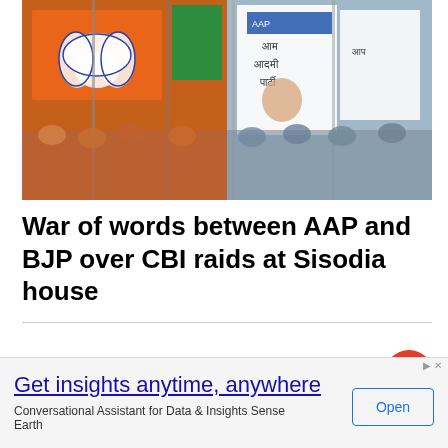[Figure (photo): Photo showing BJP orange flags with lotus symbol on the left and AAP white flags with Aam Aadmi Party branding on the right, with crowds of people in the background at a political rally.]
War of words between AAP and BJP over CBI raids at Sisodia house
Get insights anytime, anywhere
Conversational Assistant for Data & Insights Sense Earth